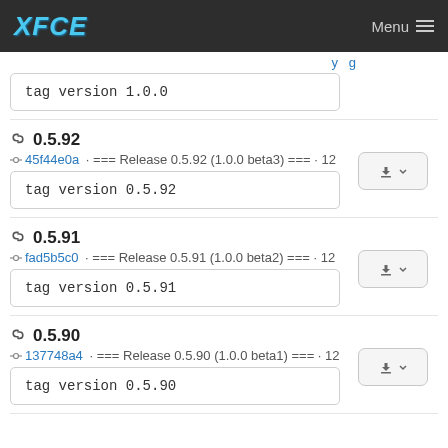XFCE  Menu
tag version 1.0.0
0.5.92
45f44e0a · === Release 0.5.92 (1.0.0 beta3) === · 12
tag version 0.5.92
0.5.91
fad5b5c0 · === Release 0.5.91 (1.0.0 beta2) === · 12
tag version 0.5.91
0.5.90
137748a4 · === Release 0.5.90 (1.0.0 beta1) === · 12
tag version 0.5.90